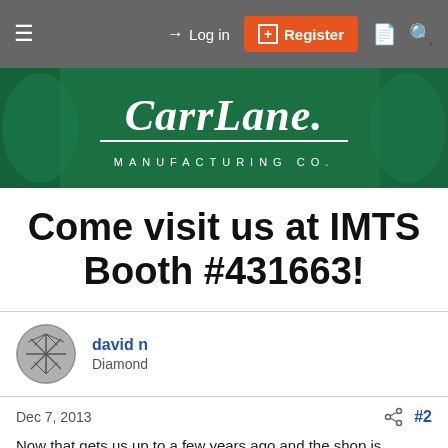Log in | Register
[Figure (logo): Carr Lane Manufacturing Co. green banner logo]
Come visit us at IMTS Booth #431663!
david n
Diamond
Dec 7, 2013  #2
Now that gets us up to a few years ago and the shop is